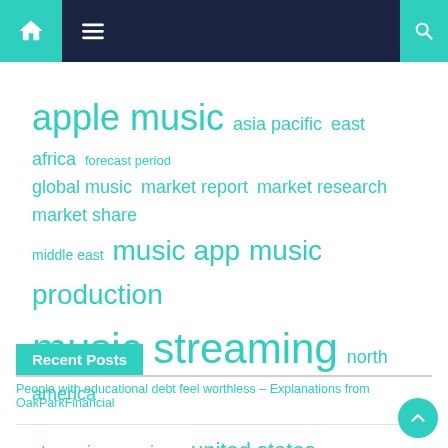Navigation bar with home, menu, and search icons
[Figure (infographic): Tag cloud with music and streaming related keywords in teal/cyan color at varying sizes: apple music (large), asia pacific (medium), east africa (medium), forecast period (small), global music (medium), market report (medium), market research (medium), market share (medium), middle east (small), music app (large), music production (large), music streaming (extra-large), north america (medium), streaming services (medium), united states (large)]
Recent Posts
People with educational debt feel worthless – Explanations from OakParkFinancial